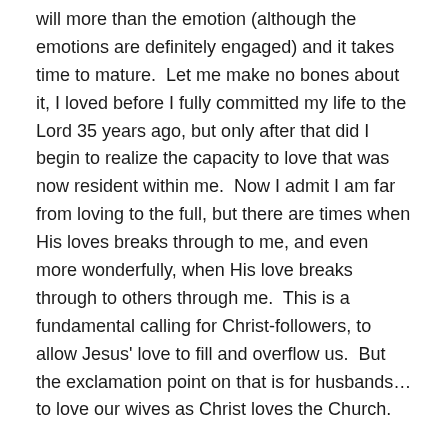will more than the emotion (although the emotions are definitely engaged) and it takes time to mature.  Let me make no bones about it, I loved before I fully committed my life to the Lord 35 years ago, but only after that did I begin to realize the capacity to love that was now resident within me.  Now I admit I am far from loving to the full, but there are times when His loves breaks through to me, and even more wonderfully, when His love breaks through to others through me.  This is a fundamental calling for Christ-followers, to allow Jesus' love to fill and overflow us.  But the exclamation point on that is for husbands… to love our wives as Christ loves the Church.
Going back to Falling in love, PSD tends to happen spontaneously during this phase.  Pursue, Serve, and Die happens naturally, but again it is largely emotion fueled.